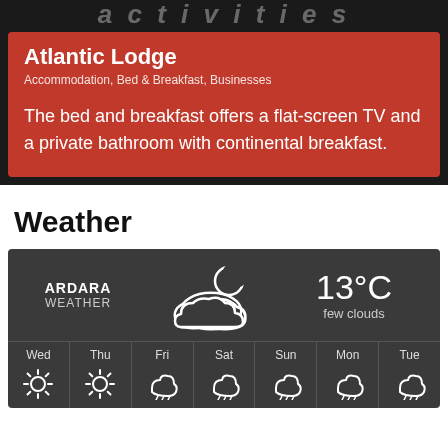[Figure (screenshot): Decorative script/cursive text banner in dark background]
Atlantic Lodge
Accommodation, Bed & Breakfast, Businesses
The bed and breakfast offers a flat-screen TV and a private bathroom with continental breakfast.
Weather
[Figure (infographic): Weather widget showing ARDARA WEATHER, 13°C few clouds with cloud-moon icon, and 7-day forecast: Wed (sunny), Thu (sunny), Fri (rain), Sat (rain), Sun (rain), Mon (rain), Tue (rain)]